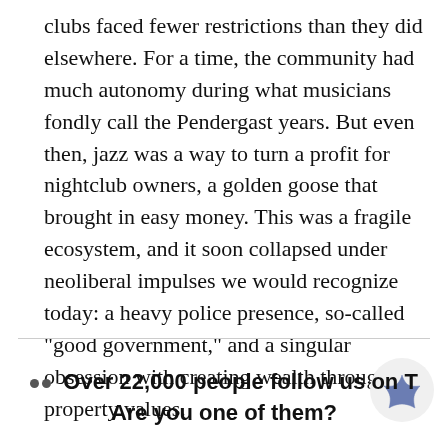clubs faced fewer restrictions than they did elsewhere. For a time, the community had much autonomy during what musicians fondly call the Pendergast years. But even then, jazz was a way to turn a profit for nightclub owners, a golden goose that brought in easy money. This was a fragile ecosystem, and it soon collapsed under neoliberal impulses we would recognize today: a heavy police presence, so-called "good government," and a singular obsession with creating wealth through property values.
•• Over 22,000 people follow us on T Are you one of them?